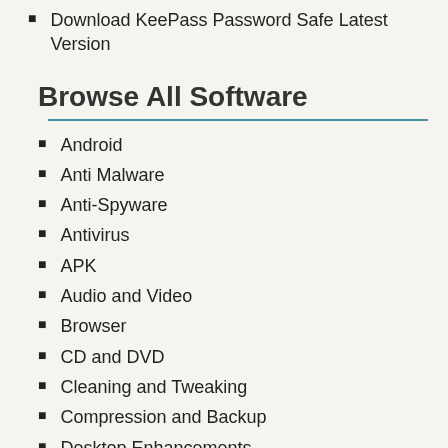Download KeePass Password Safe Latest Version
Browse All Software
Android
Anti Malware
Anti-Spyware
Antivirus
APK
Audio and Video
Browser
CD and DVD
Cleaning and Tweaking
Compression and Backup
Desktop Enhancements
Download Managers
Drivers